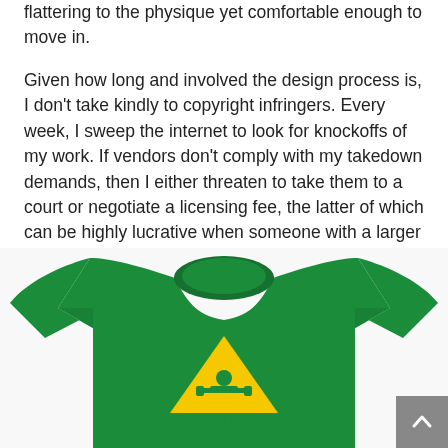flattering to the physique yet comfortable enough to move in.
Given how long and involved the design process is, I don't take kindly to copyright infringers. Every week, I sweep the internet to look for knockoffs of my work. If vendors don't comply with my takedown demands, then I either threaten to take them to a court or negotiate a licensing fee, the latter of which can be highly lucrative when someone with a larger customer base than mine uses one of my designs on a product that I don't sell.
[Figure (photo): A green long-sleeve t-shirt with a yellow triangle graphic featuring a person doing a bench press and the word BENCH at the bottom.]